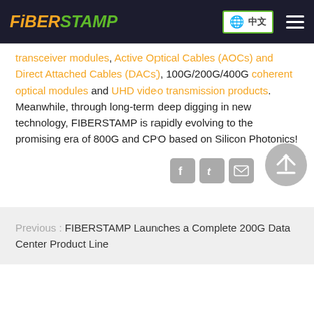FIBERSTAMP
transceiver modules, Active Optical Cables (AOCs) and Direct Attached Cables (DACs), 100G/200G/400G coherent optical modules and UHD video transmission products. Meanwhile, through long-term deep digging in new technology, FIBERSTAMP is rapidly evolving to the promising era of 800G and CPO based on Silicon Photonics!
[Figure (other): Social sharing icons: Facebook, Twitter/t, Email, and a back-to-top circular button with upward arrow]
Previous : FIBERSTAMP Launches a Complete 200G Data Center Product Line